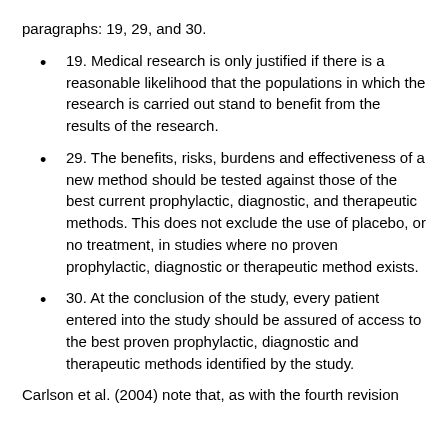paragraphs: 19, 29, and 30.
19. Medical research is only justified if there is a reasonable likelihood that the populations in which the research is carried out stand to benefit from the results of the research.
29. The benefits, risks, burdens and effectiveness of a new method should be tested against those of the best current prophylactic, diagnostic, and therapeutic methods. This does not exclude the use of placebo, or no treatment, in studies where no proven prophylactic, diagnostic or therapeutic method exists.
30. At the conclusion of the study, every patient entered into the study should be assured of access to the best proven prophylactic, diagnostic and therapeutic methods identified by the study.
Carlson et al. (2004) note that, as with the fourth revision